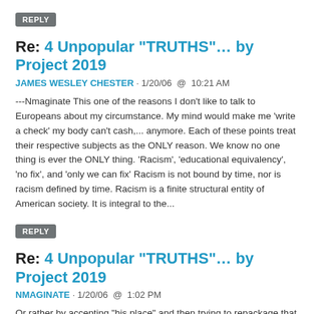REPLY
Re: 4 Unpopular "TRUTHS"… by Project 2019
JAMES WESLEY CHESTER · 1/20/06  @  10:21 AM
---Nmaginate This one of the reasons I don't like to talk to Europeans about my circumstance. My mind would make me 'write a check' my body can't cash,... anymore. Each of these points treat their respective subjects as the ONLY reason. We know no one thing is ever the ONLY thing. 'Racism', 'educational equivalency', 'no fix', and 'only we can fix' Racism is not bound by time, nor is racism defined by time. Racism is a finite structural entity of American society. It is integral to the...
REPLY
Re: 4 Unpopular "TRUTHS"… by Project 2019
NMAGINATE · 1/20/06  @  1:02 PM
Or rather by accepting "his place" and then trying to repackage that acceptance as a Morally Superior position. You know, as CON-Feed tries to prop up and infuse his one-sided "Interal Focus" idea as a positive and tries to disparage what he calls the effort "To Have White Folks Change" as a negative... as if his view is certifiably better, more focused, more concerned, more appropriate and more constructive and instructive